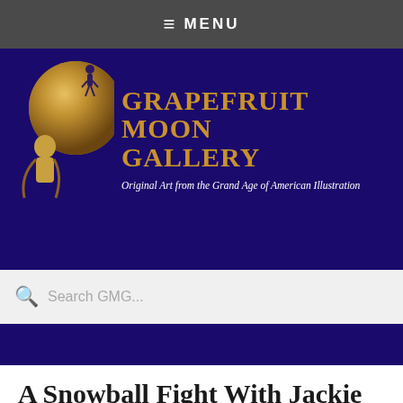≡ MENU
[Figure (logo): Grapefruit Moon Gallery banner with moon and Art Deco figures logo, purple background, gold text reading 'GRAPEFRUIT MOON GALLERY' and subtitle 'Original Art from the Grand Age of American Illustration']
Search GMG...
A Snowball Fight With Jackie
Author: Bill Rendell